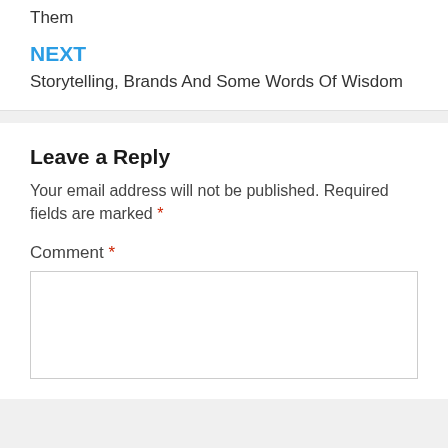Them
NEXT
Storytelling, Brands And Some Words Of Wisdom
Leave a Reply
Your email address will not be published. Required fields are marked *
Comment *